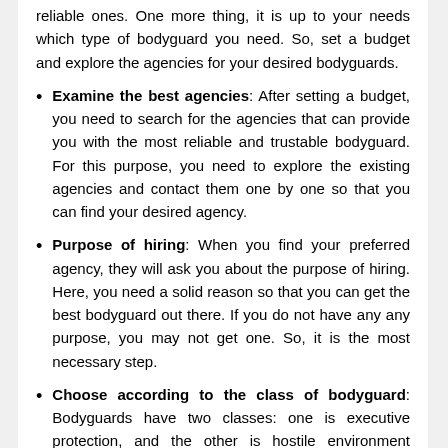reliable ones. One more thing, it is up to your needs which type of bodyguard you need. So, set a budget and explore the agencies for your desired bodyguards.
Examine the best agencies: After setting a budget, you need to search for the agencies that can provide you with the most reliable and trustable bodyguard. For this purpose, you need to explore the existing agencies and contact them one by one so that you can find your desired agency.
Purpose of hiring: When you find your preferred agency, they will ask you about the purpose of hiring. Here, you need a solid reason so that you can get the best bodyguard out there. If you do not have any any purpose, you may not get one. So, it is the most necessary step.
Choose according to the class of bodyguard: Bodyguards have two classes: one is executive protection, and the other is hostile environment bodyguard. You can choose them after looking into